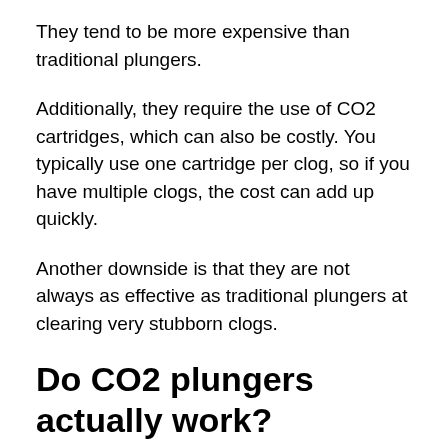They tend to be more expensive than traditional plungers.
Additionally, they require the use of CO2 cartridges, which can also be costly. You typically use one cartridge per clog, so if you have multiple clogs, the cost can add up quickly.
Another downside is that they are not always as effective as traditional plungers at clearing very stubborn clogs.
Do CO2 plungers actually work?
For the most part, yes. CO2 plungers are effective